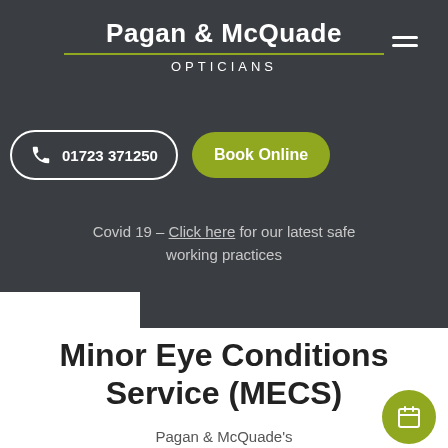Pagan & McQuade OPTICIANS
01723 371250
Book Online
Covid 19 – Click here for our latest safe working practices
Minor Eye Conditions Service (MECS)
Pagan & McQuade's